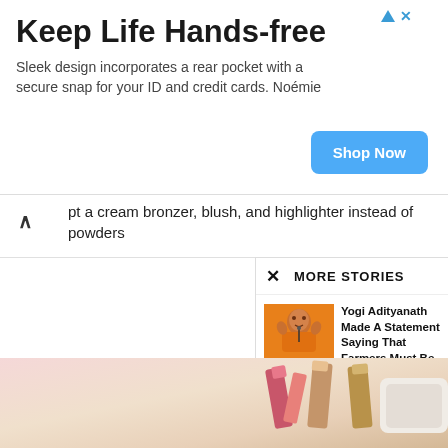[Figure (screenshot): Advertisement banner: Keep Life Hands-free. Sleek design incorporates a rear pocket with a secure snap for your ID and credit cards. Noémie. Shop Now button.]
pt a cream bronzer, blush, and highlighter instead of powders
MORE STORIES
[Figure (photo): Photo of Yogi Adityanath in orange robes gesturing with hands]
Yogi Adityanath Made A Statement Saying That Farmers Must Be Allowed...
NEWS   April 13, 2020
[Figure (photo): Photo of Moderna coronavirus vaccine medical scene with blue glove]
Moderna's Coronavirus Vaccine Shows Positive Results
NEWS   May 19, 2020
[Figure (photo): Partial bottom image showing cosmetics/lipsticks in pink and rose gold tones]